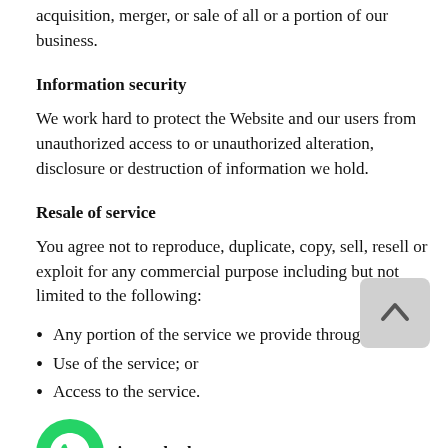acquisition, merger, or sale of all or a portion of our business.
Information security
We work hard to protect the Website and our users from unauthorized access to or unauthorized alteration, disclosure or destruction of information we hold.
Resale of service
You agree not to reproduce, duplicate, copy, sell, resell or exploit for any commercial purpose including but not limited to the following:
Any portion of the service we provide through Actio
Use of the service; or
Access to the service.
nity and release
You agree to protect, defend, indemnify and hold the